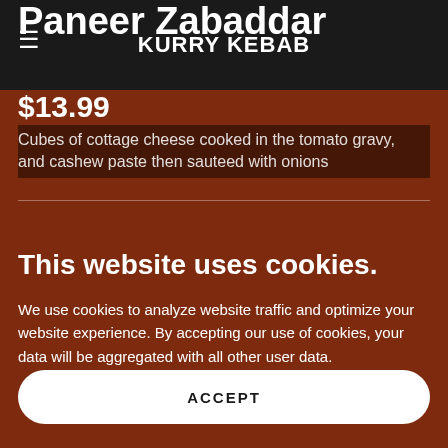KURRY KEBAB
Paneer Zabaddar
$13.99
Cubes of cottage cheese cooked in the tomato gravy, and cashew paste then sauteed with onions
This website uses cookies.
We use cookies to analyze website traffic and optimize your website experience. By accepting our use of cookies, your data will be aggregated with all other user data.
ACCEPT